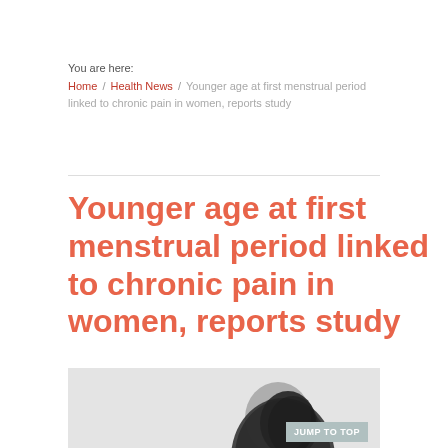You are here:
Home / Health News / Younger age at first menstrual period linked to chronic pain in women, reports study
Younger age at first menstrual period linked to chronic pain in women, reports study
[Figure (photo): Partial view of a person's head with dark hair against a light grey background]
JUMP TO TOP